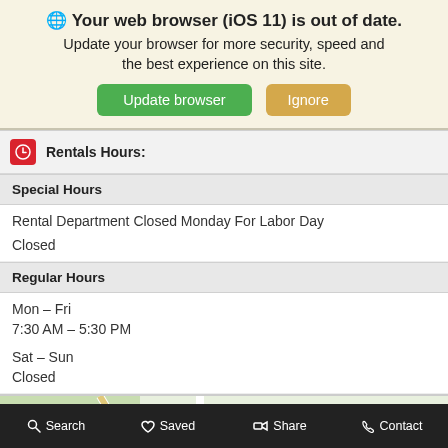🌐 Your web browser (iOS 11) is out of date. Update your browser for more security, speed and the best experience on this site.
Update browser | Ignore
Rentals Hours:
Special Hours
Rental Department Closed Monday For Labor Day
Closed
Regular Hours
Mon – Fri
7:30 AM – 5:30 PM
Sat – Sun
Closed
[Figure (map): Map showing Snake River Stampe location near Franklin Rd and N Brin, with Home2 Suites by marker visible]
Search | Saved | Share | Contact